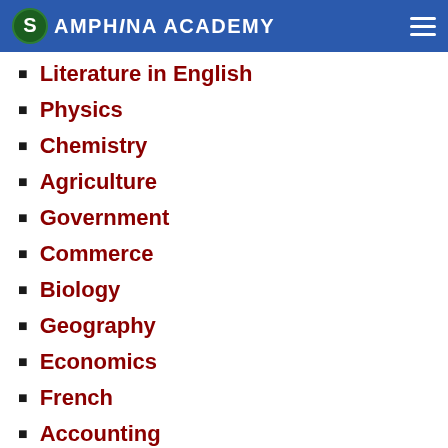Samphina Academy
Literature in English
Physics
Chemistry
Agriculture
Government
Commerce
Biology
Geography
Economics
French
Accounting